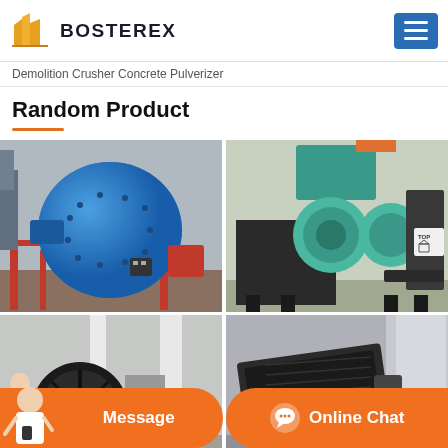[Figure (logo): Bosterex company logo with orange/yellow building icon and dark bold text BOSTEREX]
Demolition Crusher Concrete Pulverizer
Random Product
[Figure (photo): Large blue ball mill industrial grinding machine in a factory, with red support frame and motor]
[Figure (photo): Teal/green briquette press machine with black metal frame in a factory, TOP label visible]
[Figure (photo): Large industrial grinding mill with black flywheel in factory, worker visible]
[Figure (photo): Black vibrating screen industrial machine in factory]
Message
Online Chat